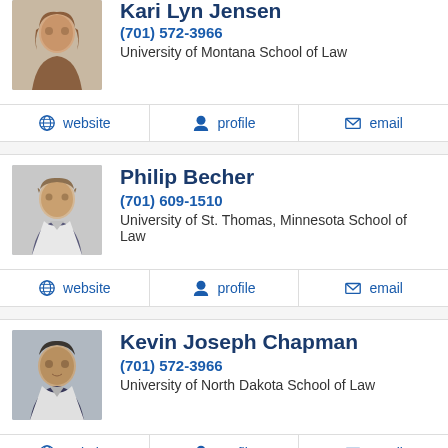Kari Lyn Jensen
(701) 572-3966
University of Montana School of Law
website | profile | email
Philip Becher
(701) 609-1510
University of St. Thomas, Minnesota School of Law
website | profile | email
Kevin Joseph Chapman
(701) 572-3966
University of North Dakota School of Law
website | profile | email